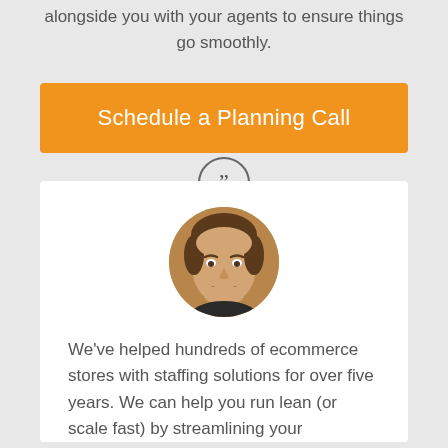alongside you with your agents to ensure things go smoothly.
[Figure (other): Orange CTA button labeled 'Schedule a Planning Call']
[Figure (photo): Circular portrait photo of a smiling young man with short hair, against a wooden background]
We've helped hundreds of ecommerce stores with staffing solutions for over five years. We can help you run lean (or scale fast) by streamlining your